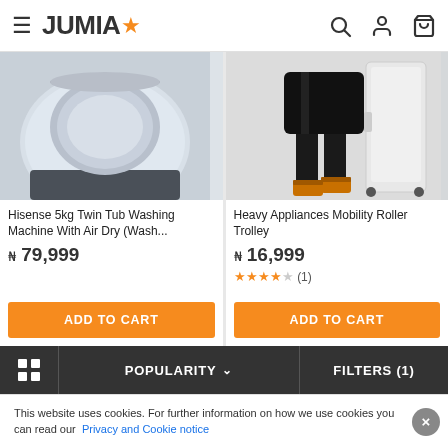JUMIA
[Figure (photo): Hisense twin tub washing machine product photo showing top view of machine]
Hisense 5kg Twin Tub Washing Machine With Air Dry (Wash...
₦ 79,999
ADD TO CART
[Figure (photo): Person wearing black jeans and tan boots standing next to a white heavy appliance mobility roller trolley]
Heavy Appliances Mobility Roller Trolley
₦ 16,999
★★★★☆ (1)
ADD TO CART
POPULARITY ∨   FILTERS (1)
This website uses cookies. For further information on how we use cookies you can read our Privacy and Cookie notice